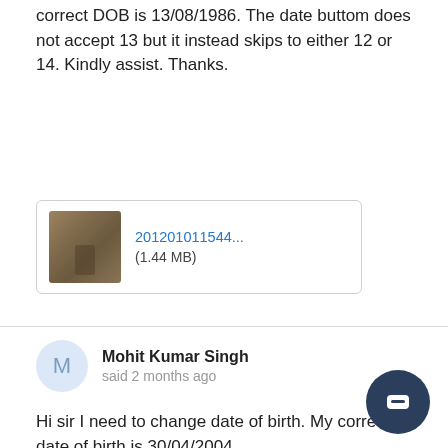... I need to change my date of birth. My correct DOB is 13/08/1986. The date buttom does not accept 13 but it instead skips to either 12 or 14. Kindly assist. Thanks.
[Figure (screenshot): Attachment thumbnail showing a blurry photo with filename '201201011544...' and file size (1.44 MB)]
Mohit Kumar Singh
said 2 months ago

Hi sir I need to change date of birth. My correct date of birth is 30/04/2004
[Figure (screenshot): Attachment thumbnail showing a document/ID card with filename 'Screenshot20...' and file size (151 KB)]